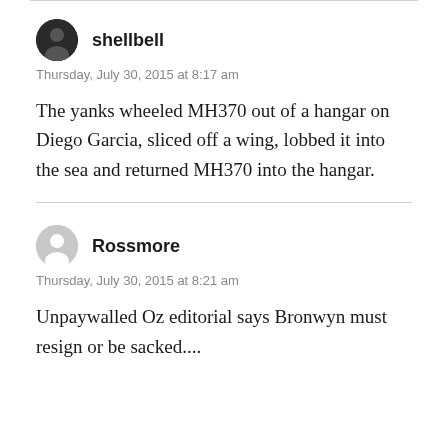shellbell
Thursday, July 30, 2015 at 8:17 am
The yanks wheeled MH370 out of a hangar on Diego Garcia, sliced off a wing, lobbed it into the sea and returned MH370 into the hangar.
Rossmore
Thursday, July 30, 2015 at 8:21 am
Unpaywalled Oz editorial says Bronwyn must resign or be sacked....